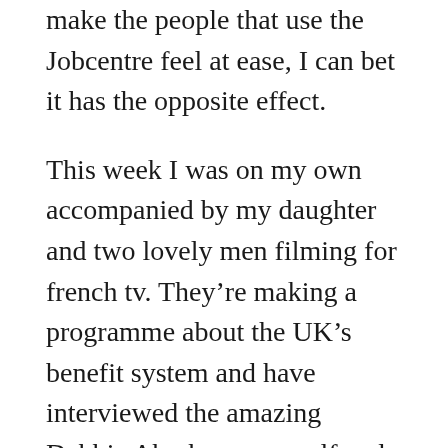make the people that use the Jobcentre feel at ease, I can bet it has the opposite effect.
This week I was on my own accompanied by my daughter and two lovely men filming for french tv. They're making a programme about the UK's benefit system and have interviewed the amazing Debbie Abrahams, myself and they're going to interview the dark lord himself David Cameron.
I was asked many times about my opinion of him, I answered that he's got the blood of thousands of vulnerable and disabled people on his hands. Along with Ian (I'll hide in car boots) Duncan Smith there's a special place in